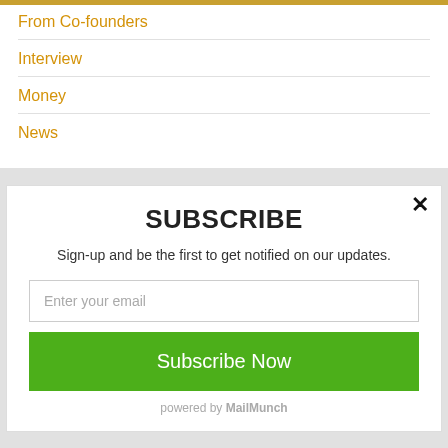From Co-founders
Interview
Money
News
SUBSCRIBE
Sign-up and be the first to get notified on our updates.
Enter your email
Subscribe Now
powered by MailMunch